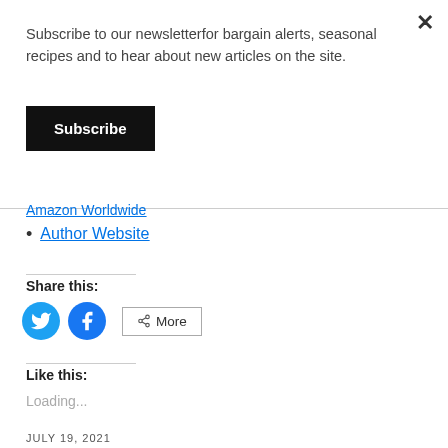Subscribe to our newsletterfor bargain alerts, seasonal recipes and to hear about new articles on the site.
Subscribe
Amazon Worldwide
Author Website
Share this:
[Figure (other): Twitter and Facebook share buttons, plus a More button]
Like this:
Loading...
JULY 19, 2021